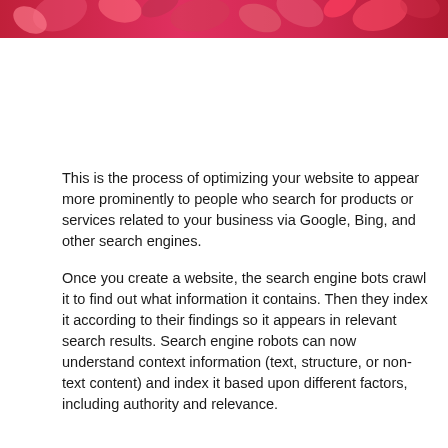[Figure (illustration): Decorative header banner with pink/red floral or abstract pattern on a dark background]
This is the process of optimizing your website to appear more prominently to people who search for products or services related to your business via Google, Bing, and other search engines.
Once you create a website, the search engine bots crawl it to find out what information it contains. Then they index it according to their findings so it appears in relevant search results. Search engine robots can now understand context information (text, structure, or non-text content) and index it based upon different factors, including authority and relevance.